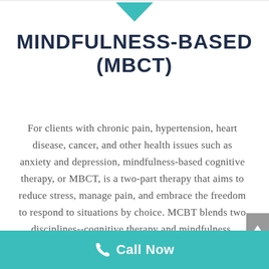[Figure (illustration): Teal downward-pointing chevron/arrow icon at top center of page]
MINDFULNESS-BASED (MBCT)
For clients with chronic pain, hypertension, heart disease, cancer, and other health issues such as anxiety and depression, mindfulness-based cognitive therapy, or MBCT, is a two-part therapy that aims to reduce stress, manage pain, and embrace the freedom to respond to situations by choice. MCBT blends two disciplines--cognitive therapy and mindfulness. Mindfulness helps by reflecting on moments and thoughts without passing judgment. MBCT clients pay close
Call Now